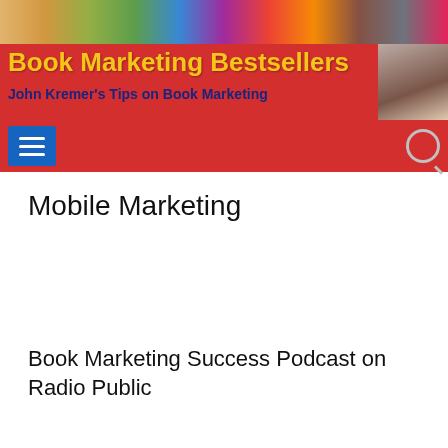Book Marketing Bestsellers – John Kremer's Tips on Book Marketing
[Figure (screenshot): Book Marketing Bestsellers website header with red background, yellow title text, dark blue subtitle, navigation hamburger menu button, and search icon]
Mobile Marketing
[Figure (logo): Listen on RadioPublic badge with red RP logo and bold RadioPublic text]
Book Marketing Success Podcast on Radio Public
[Figure (infographic): Social media share bar with Facebook, Instagram, LinkedIn, Pinterest, Reddit, Twitter, and Email buttons]